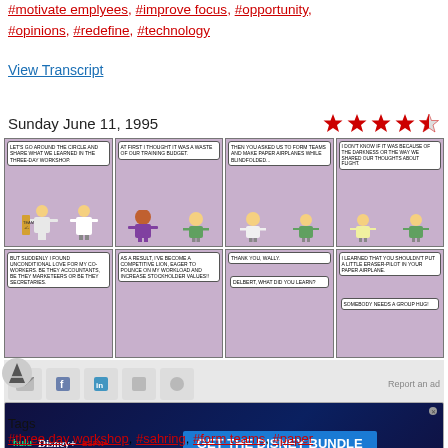#motivate emplyees, #improve focus, #opportunity, #opinions, #redefine, #technology
View Transcript
Sunday June 11, 1995
[Figure (illustration): Dilbert comic strip showing 8 panels about a three-day workshop. Panel 1: Boss says lets go around the circle and share what we learned in the three-day workshop. Panel 2: Character says at first I thought it was a waste of our training budget. Panel 3: Then you asked us to form teams and make paper airplanes while blindfolded. Panel 4: I don't know if it was because of the darkness or the way we shared our thoughts about flight. Panel 5: But suddenly I found unconditional love for my co-workers. Be they accountants, be they marketeers or be they secretaries. Panel 6: As a result I've become a competitive lion eager to pounce on my workload and increase stockholder values!! Panel 7: Thank you Wally. Delbert what did you learn? Panel 8: I learned that you shouldn't put a little eraser-pilot in your paper airplane. Somebody needs a group hug!]
[Figure (infographic): Social sharing icons row including email, Facebook, LinkedIn, and other sharing buttons with Report an ad link]
[Figure (screenshot): Disney Bundle advertisement banner with Hulu, Disney+, ESPN+ logos and GET THE DISNEY BUNDLE CTA button]
Tags
#three day workshop, #sahring, #form teams, #paper